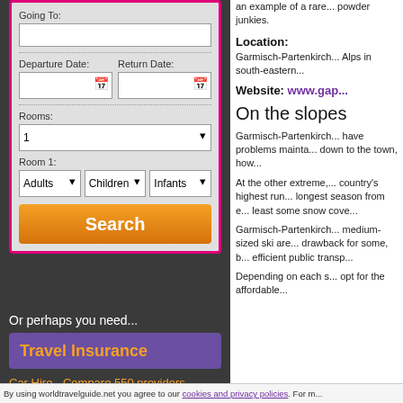Going To:
Departure Date:
Return Date:
Rooms:
Room 1:
Adults | Children | Infants
Search
Or perhaps you need...
Travel Insurance
Car Hire - Compare 550 providers
an example of a rare... powder junkies.
Location:
Garmisch-Partenkirch... Alps in south-eastern...
Website:
www.gap...
On the slopes
Garmisch-Partenkirch... have problems mainta... down to the town, how...
At the other extreme,... country's highest run.... longest season from e... least some snow cove...
Garmisch-Partenkirch... medium-sized ski are... drawback for some, b... efficient public transp...
Depending on each s... opt for the affordable...
By using worldtravelguide.net you agree to our cookies and privacy policies. For m...